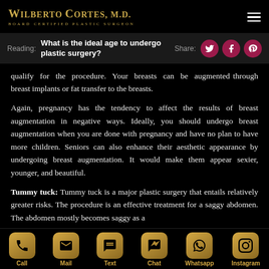WILBERTO CORTES, M.D. BOARD CERTIFIED PLASTIC SURGEON
Reading: What is the ideal age to undergo plastic surgery? Share:
qualify for the procedure. Your breasts can be augmented through breast implants or fat transfer to the breasts.
Again, pregnancy has the tendency to affect the results of breast augmentation in negative ways. Ideally, you should undergo breast augmentation when you are done with pregnancy and have no plan to have more children. Seniors can also enhance their aesthetic appearance by undergoing breast augmentation. It would make them appear sexier, younger, and beautiful.
Tummy tuck: Tummy tuck is a major plastic surgery that entails relatively greater risks. The procedure is an effective treatment for a saggy abdomen. The abdomen mostly becomes saggy as a
Call  Mail  Text  Chat  Whatsapp  Instagram